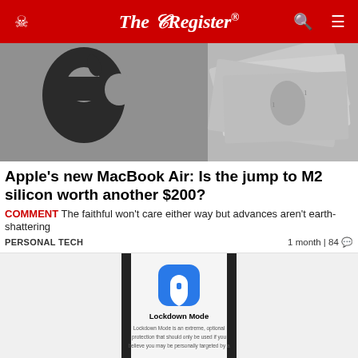The Register
[Figure (photo): Apple logo and US dollar bills in grayscale background]
Apple's new MacBook Air: Is the jump to M2 silicon worth another $200?
COMMENT The faithful won't care either way but advances aren't earth-shattering
PERSONAL TECH    1 month | 84 comments
[Figure (screenshot): iPhone screen showing Lockdown Mode dialog with blue shield icon, title 'Lockdown Mode' and description text]